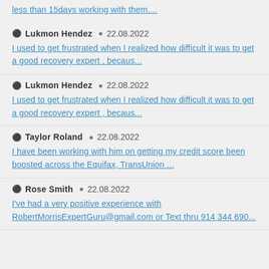less than 15days working with them....
Lukmon Hendez  22.08.2022
I used to get frustrated when I realized how difficult it was to get a good recovery expert , becaus...
Lukmon Hendez  22.08.2022
I used to get frustrated when I realized how difficult it was to get a good recovery expert , becaus...
Taylor Roland  22.08.2022
I have been working with him on getting my credit score been boosted across the Equifax, TransUnion ...
Rose Smith  22.08.2022
I've had a very positive experience with RobertMorrisExpertGuru@gmail.com or Text thru 914 344 690...